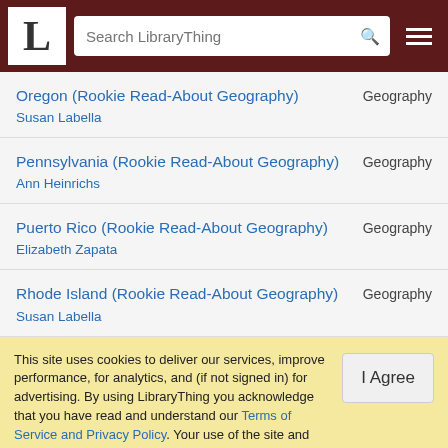LibraryThing — Search LibraryThing
Oregon (Rookie Read-About Geography) — Susan Labella — Geography
Pennsylvania (Rookie Read-About Geography) — Ann Heinrichs — Geography
Puerto Rico (Rookie Read-About Geography) — Elizabeth Zapata — Geography
Rhode Island (Rookie Read-About Geography) — Susan Labella — Geography
This site uses cookies to deliver our services, improve performance, for analytics, and (if not signed in) for advertising. By using LibraryThing you acknowledge that you have read and understand our Terms of Service and Privacy Policy. Your use of the site and services is subject to these policies and terms.